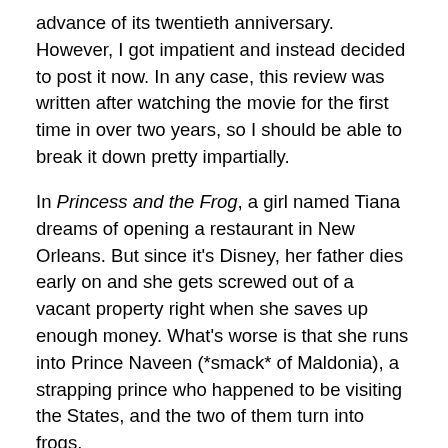advance of its twentieth anniversary. However, I got impatient and instead decided to post it now. In any case, this review was written after watching the movie for the first time in over two years, so I should be able to break it down pretty impartially.
In Princess and the Frog, a girl named Tiana dreams of opening a restaurant in New Orleans. But since it's Disney, her father dies early on and she gets screwed out of a vacant property right when she saves up enough money. What's worse is that she runs into Prince Naveen (*smack* of Maldonia), a strapping prince who happened to be visiting the States, and the two of them turn into frogs.
Princess and the Frog was the start of a new trope for Disney's female leads. They would no longer be damsels in distress who were swept away by some hunk. In fact, a lot of these Disney women would start off on bad terms with their husbando-to-be. Princess and the Frog also starts a trend of Disney lessons that are practical to real life, unlike previous